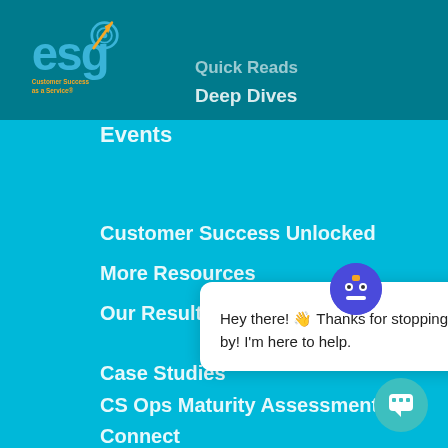[Figure (logo): ESG logo with arrow/target icon and text 'Customer Success as a Service']
Quick Reads
Deep Dives
Events
Customer Success Unlocked
More Resources
Our Results
Case Studies
CS Ops Maturity Assessment
Connect
Hey there! 👋 Thanks for stopping by! I'm here to help.